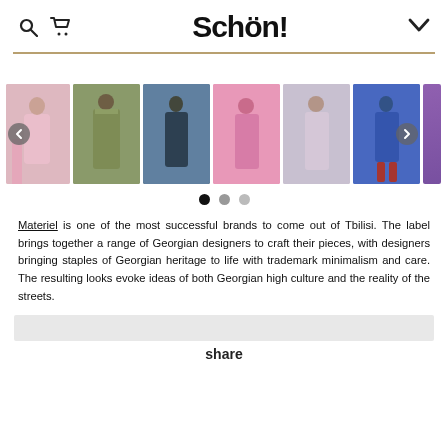Schön!
[Figure (photo): Carousel of fashion photos from Materiel brand showing models in various outfits including pink coat, olive trench, black ensemble, pink satin, light pink suit, and blue satin dress]
Materiel is one of the most successful brands to come out of Tbilisi. The label brings together a range of Georgian designers to craft their pieces, with designers bringing staples of Georgian heritage to life with trademark minimalism and care. The resulting looks evoke ideas of both Georgian high culture and the reality of the streets.
share